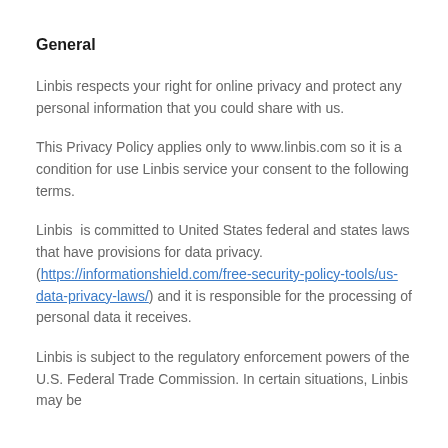General
Linbis respects your right for online privacy and protect any personal information that you could share with us.
This Privacy Policy applies only to www.linbis.com so it is a condition for use Linbis service your consent to the following terms.
Linbis  is committed to United States federal and states laws that have provisions for data privacy. (https://informationshield.com/free-security-policy-tools/us-data-privacy-laws/) and it is responsible for the processing of personal data it receives.
Linbis is subject to the regulatory enforcement powers of the U.S. Federal Trade Commission. In certain situations, Linbis may be